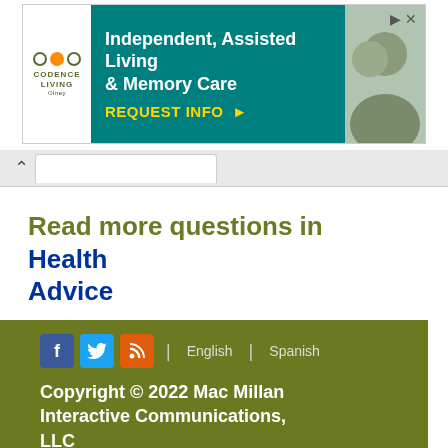[Figure (other): Advertisement for Codence Living Olney: Independent, Assisted Living & Memory Care with REQUEST INFO button]
Read more questions in Health Advice
Copyright © 2022 Mac Millan Interactive Communications, LLC
Privacy Policy
Terms and Conditions for the Usage of this Site
www.home-remedies-for...